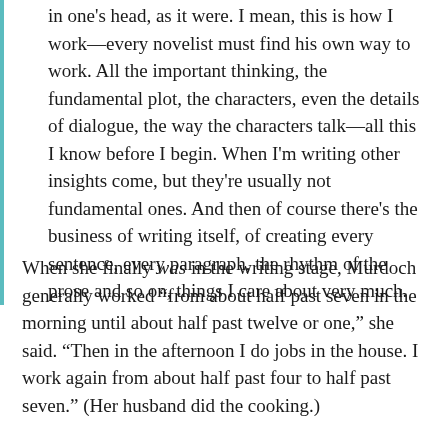in one's head, as it were. I mean, this is how I work—every novelist must find his own way to work. All the important thinking, the fundamental plot, the characters, even the details of dialogue, the way the characters talk—all this I know before I begin. When I'm writing other insights come, but they're usually not fundamental ones. And then of course there's the business of writing itself, of creating every sentence, every paragraph, the rhythm of the prose and so on, things I care about very much.
When she finally was in the writing stage, Murdoch generally worked "from about half past seven in the morning until about half past twelve or one," she said. "Then in the afternoon I do jobs in the house. I work again from about half past four to half past seven." (Her husband did the cooking.)